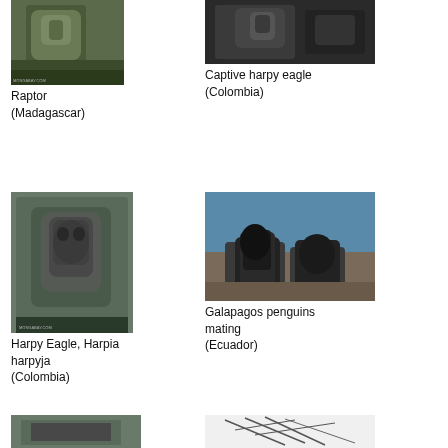[Figure (photo): Raptor bird perched on a branch, Madagascar]
Raptor
(Madagascar)
[Figure (photo): Captive harpy eagle, Colombia]
Captive harpy eagle
(Colombia)
[Figure (photo): Harpy Eagle, Harpia harpyja, Colombia]
Harpy Eagle, Harpia harpyja
(Colombia)
[Figure (photo): Galapagos penguins mating, Ecuador]
Galapagos penguins mating
(Ecuador)
[Figure (photo): Bird photo bottom left, partial view]
[Figure (photo): Bird on branches bottom right, partial view]